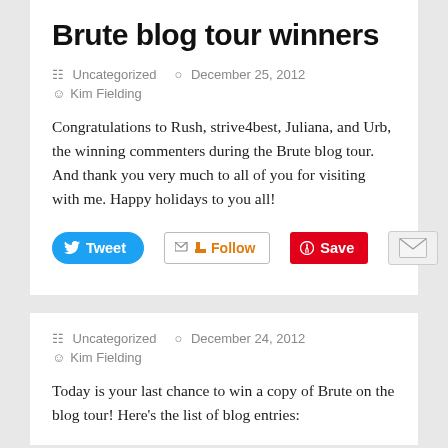Brute blog tour winners
Uncategorized  December 25, 2012
Kim Fielding
Congratulations to Rush, strive4best, Juliana, and Urb, the winning commenters during the Brute blog tour. And thank you very much to all of you for visiting with me. Happy holidays to you all!
[Figure (other): Social sharing buttons: Tweet (Twitter), Follow (email/RSS), Save (Pinterest), Mail]
Uncategorized  December 24, 2012
Kim Fielding
Today is your last chance to win a copy of Brute on the blog tour! Here's the list of blog entries: